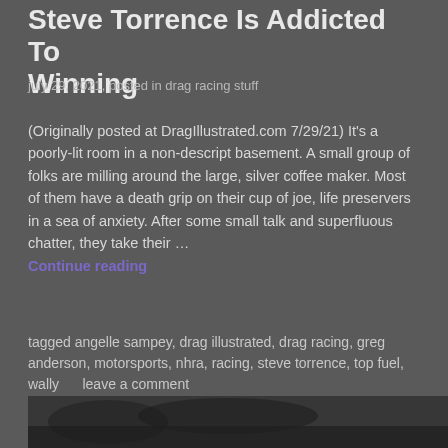Steve Torrence Is Addicted To Winning
july 29, 2021, posted in drag racing stuff
(Originally posted at DragIllustrated.com 7/29/21) It's a poorly-lit room in a non-descript basement. A small group of folks are milling around the large, silver coffee maker. Most of them have a death grip on their cup of joe, life preservers in a sea of anxiety. After some small talk and superfluous chatter, they take their …
Continue reading
tagged angelle sampey, drag illustrated, drag racing, greg anderson, motorsports, nhra, racing, steve torrence, top fuel, wally     leave a comment
[Figure (photo): Bottom strip showing a partial black and white photo, likely of a racing driver or car]